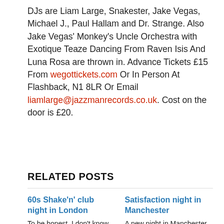DJs are Liam Large, Snakester, Jake Vegas, Michael J., Paul Hallam and Dr. Strange. Also Jake Vegas' Monkey's Uncle Orchestra with Exotique Teaze Dancing From Raven Isis And Luna Rosa are thrown in. Advance Tickets £15 From wegottickets.com Or In Person At Flashback, N1 8LR Or Email liamlarge@jazzmanrecords.co.uk. Cost on the door is £20.
RELATED POSTS
60s Shake'n' club night in London
To be honest, I don't know much (if anything) about 'London 60s week', but the 60s Shake'n' club night in London is apparently part
Satisfaction night in Manchester
A new night in Manchester kicks off this Friday, going by the name of Satisfaction and taking place at the Band on the Wall Falling